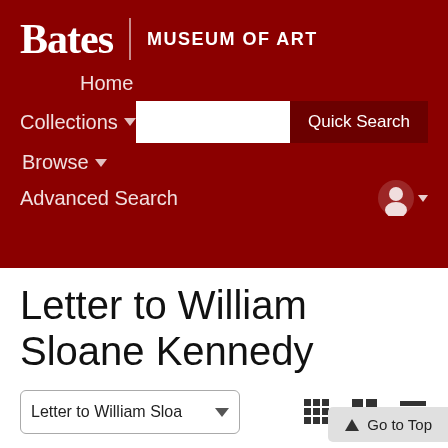Bates | MUSEUM OF ART
Home
Collections ▾
Browse ▾
Advanced Search
Letter to William Sloane Kennedy
Letter to William Sloa… ▾
⊞ ⊟ ☰
⏮ First
Next ▶
Showing 1 of
↑ Go to Top